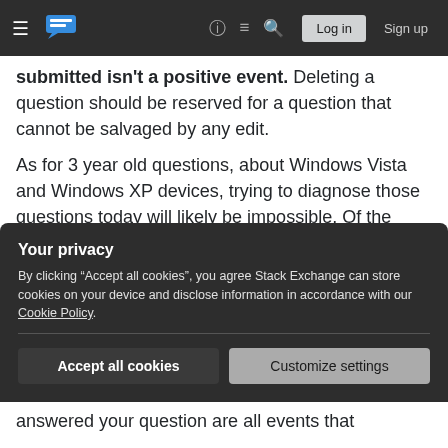Stack Exchange navigation bar with hamburger menu, logo, help, chat, search icons, Log in and Sign up buttons
submitted isn't a positive event. Deleting a question should be reserved for a question that cannot be salvaged by any edit.
As for 3 year old questions, about Windows Vista and Windows XP devices, trying to diagnose those questions today will likely be impossible. Of the questions I saw that had automatically been deleted, were undiagnosed hardware failures, attempting to formulate an answer today would be impossible. It doesn't appear you are very far into
Your privacy
By clicking "Accept all cookies", you agree Stack Exchange can store cookies on your device and disclose information in accordance with our Cookie Policy.
Accept all cookies    Customize settings
answered your question are all events that